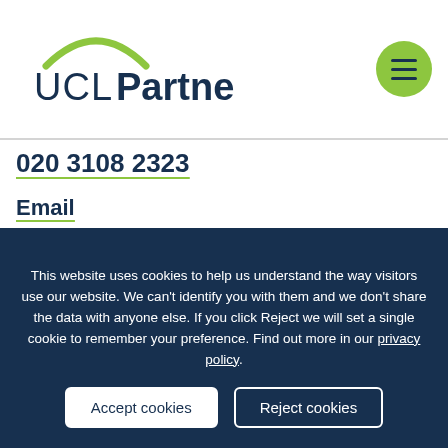[Figure (logo): UCL Partners logo with green arc above 'UCL' text and 'Partners' in bold dark navy]
020 3108 2323
Email
This website uses cookies to help us understand the way visitors use our website. We can't identify you with them and we don't share the data with anyone else. If you click Reject we will set a single cookie to remember your preference. Find out more in our privacy policy.
Accept cookies
Reject cookies